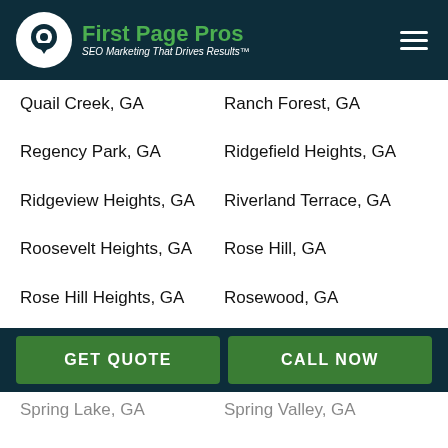[Figure (logo): First Page Pros logo with map pin icon and text 'SEO Marketing That Drives Results™' on dark blue header background]
Quail Creek, GA
Ranch Forest, GA
Regency Park, GA
Ridgefield Heights, GA
Ridgeview Heights, GA
Riverland Terrace, GA
Roosevelt Heights, GA
Rose Hill, GA
Rose Hill Heights, GA
Rosewood, GA
Saint Marys Hills, GA
Sand Hill, GA
Schatulga, GA
Sears Woods, GA
Shenandoah Forest, GA
Sheraton Forest, GA
GET QUOTE
CALL NOW